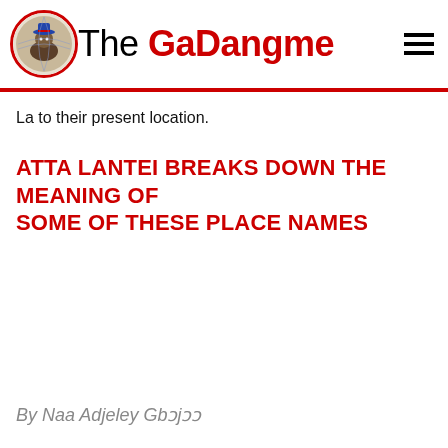The GaDangme
La to their present location.
ATTA LANTEI BREAKS DOWN THE MEANING OF SOME OF THESE PLACE NAMES
By Naa Adjeley Gbɔjɔɔ